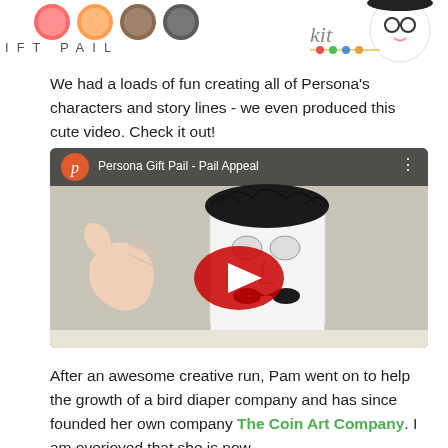[Figure (other): Persona Gift Pail kit logo banner with colorful character icons]
We had a loads of fun creating all of Persona's characters and story lines - we even produced this cute video. Check it out!
[Figure (screenshot): YouTube video thumbnail showing Persona Gift Pail - Pail Appeal, with a decorative pail character with black fur hair, mustache face, and a hand gesturing beside it. A red YouTube play button is overlaid in the center.]
After an awesome creative run, Pam went on to help the growth of a bird diaper company and has since founded her own company The Coin Art Company. I am overjoyed that she is now having ties with on coming this tie with about Melinda